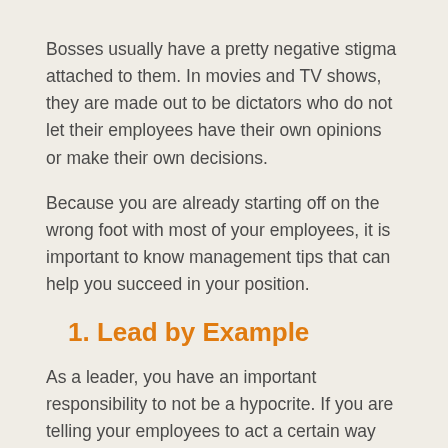Bosses usually have a pretty negative stigma attached to them. In movies and TV shows, they are made out to be dictators who do not let their employees have their own opinions or make their own decisions.
Because you are already starting off on the wrong foot with most of your employees, it is important to know management tips that can help you succeed in your position.
1. Lead by Example
As a leader, you have an important responsibility to not be a hypocrite. If you are telling your employees to act a certain way and you do not act that way yourself, they will have no reason to want to follow your rules. You need to